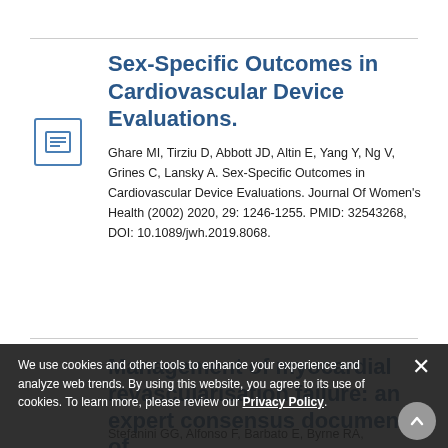Sex-Specific Outcomes in Cardiovascular Device Evaluations.
Ghare MI, Tirziu D, Abbott JD, Altin E, Yang Y, Ng V, Grines C, Lansky A. Sex-Specific Outcomes in Cardiovascular Device Evaluations. Journal Of Women's Health (2002) 2020, 29: 1246-1255. PMID: 32543268, DOI: 10.1089/jwh.2019.8068.
Management of myocardial revascularisation failure: an expert consensus document of the ACVC.
Stefanini GG, Alfonso F, Barbato E, Byrne RA,
We use cookies and other tools to enhance your experience and analyze web trends. By using this website, you agree to its use of cookies. To learn more, please review our Privacy Policy.